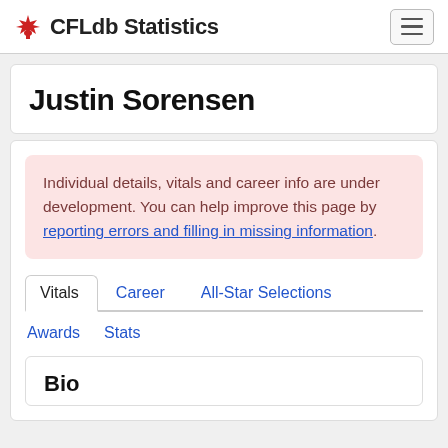CFLdb Statistics
Justin Sorensen
Individual details, vitals and career info are under development. You can help improve this page by reporting errors and filling in missing information.
Vitals  Career  All-Star Selections
Awards  Stats
Bio